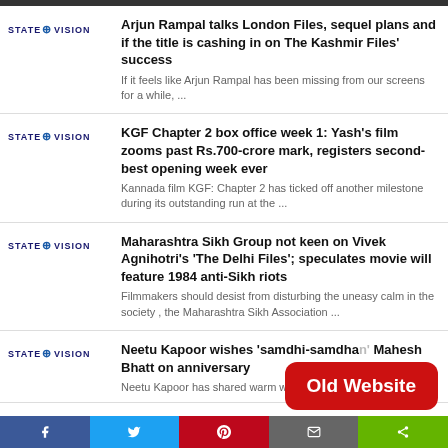Arjun Rampal talks London Files, sequel plans and if the title is cashing in on The Kashmir Files' success
If it feels like Arjun Rampal has been missing from our screens for a while, ...
KGF Chapter 2 box office week 1: Yash's film zooms past Rs.700-crore mark, registers second-best opening week ever
Kannada film KGF: Chapter 2 has ticked off another milestone during its outstanding run at the ...
Maharashtra Sikh Group not keen on Vivek Agnihotri's 'The Delhi Files'; speculates movie will feature 1984 anti-Sikh riots
Filmmakers should desist from disturbing the uneasy calm in the society , the Maharashtra Sikh Association ...
Neetu Kapoor wishes 'samdhi-samdhan' Mahesh Bhatt on anniversary
Neetu Kapoor has shared warm wishes on the wedding ...
[Figure (other): Old Website red button overlay]
f  [Twitter bird]  [Pinterest]  [Email]  [Share]